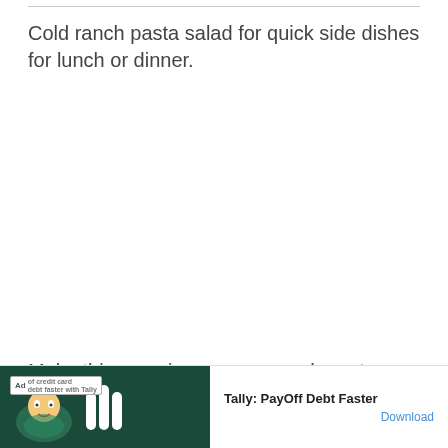Cold ranch pasta salad for quick side dishes for lunch or dinner.
Make this amazing creamy ranch pasta salad for BBQ
or pic
[Figure (other): Advertisement banner for Tally: PayOff Debt Faster app with green background, mascot illustration, and Tally logo bars. Includes Ad badge, text 'of credit card debt faster with Tally', 'Tally: PayOff Debt Faster' label, and 'Download' link.]